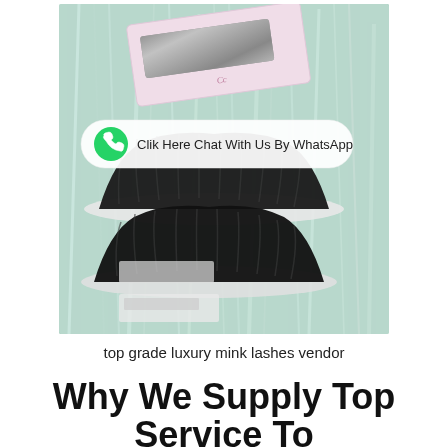[Figure (photo): A product photo of luxury mink false eyelashes displayed on a light teal/mint shredded paper background. A pink lash box with a glittery window is visible at the top. Multiple pairs of dramatic black mink lashes are shown. A WhatsApp chat button overlay reads 'Clik Here Chat With Us By WhatsApp'.]
top grade luxury mink lashes vendor
Why We Supply Top Service To